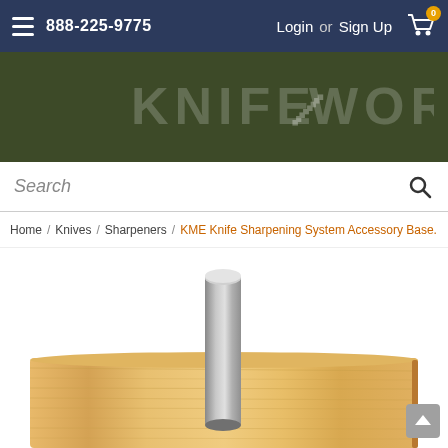888-225-9775 | Login or Sign Up
[Figure (logo): KnifeWorks logo in dark olive green background with large faded white text]
Search
Home / Knives / Sharpeners / KME Knife Sharpening System Accessory Base.
[Figure (photo): KME Knife Sharpening System Accessory Base - a light wood bamboo rectangular base with a metal cylindrical rod/pin inserted in the center]